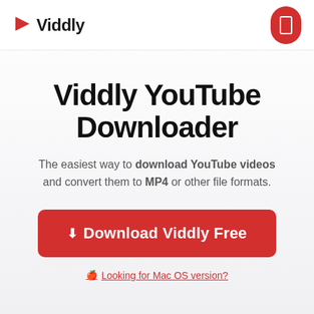Viddly
Viddly YouTube Downloader
The easiest way to download YouTube videos and convert them to MP4 or other file formats.
Download Viddly Free
Looking for Mac OS version?